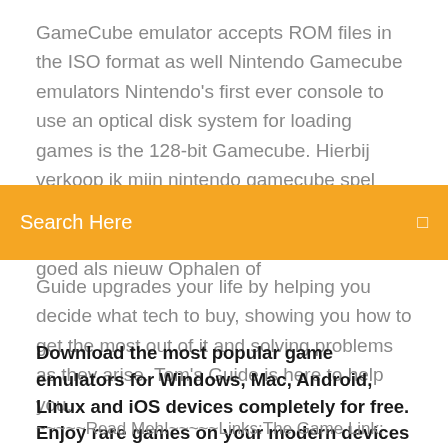GameCube emulator accepts ROM files in the ISO format as well Nintendo Gamecube emulators Nintendo's first ever console to use an optical disk system for loading games is the 128-bit Gamecube. Hierbij verkoop ik mijn nintendo gamecube spel pokemon xd gale of darkness. Het spel is erg ƒ, in goede staat, getest, werkt perf. Zo goed als nieuw Ophalen of
Search Here
Guide upgrades your life by helping you decide what tech to buy, showing you how to get the most out of it and solving problems as they arise. Tom's Guide is here to help you.
Download the most popular game emulators for Windows, Mac, Android, Linux and iOS devices completely for free. Enjoy rare games on your modern devices
~~~~~Read Meh!~~~~~Links:The Game Link: http://www.portalroms.com/en/wii-u/mario-party-10-iso-